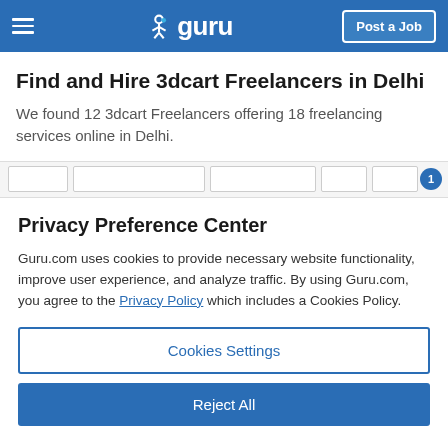guru — Post a Job
Find and Hire 3dcart Freelancers in Delhi
We found 12 3dcart Freelancers offering 18 freelancing services online in Delhi.
Privacy Preference Center
Guru.com uses cookies to provide necessary website functionality, improve user experience, and analyze traffic. By using Guru.com, you agree to the Privacy Policy which includes a Cookies Policy.
Cookies Settings
Reject All